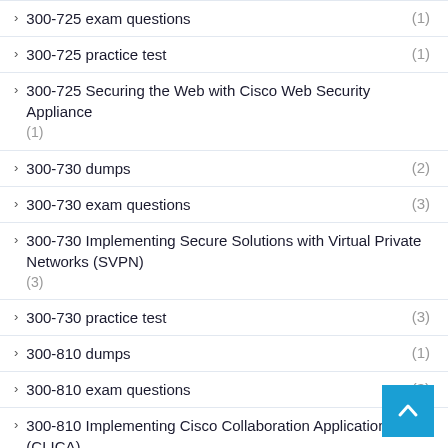300-725 exam questions (1)
300-725 practice test (1)
300-725 Securing the Web with Cisco Web Security Appliance (1)
300-730 dumps (2)
300-730 exam questions (3)
300-730 Implementing Secure Solutions with Virtual Private Networks (SVPN) (3)
300-730 practice test (3)
300-810 dumps (1)
300-810 exam questions (3)
300-810 Implementing Cisco Collaboration Applications (CLICA) (3)
300-810 practice test (3)